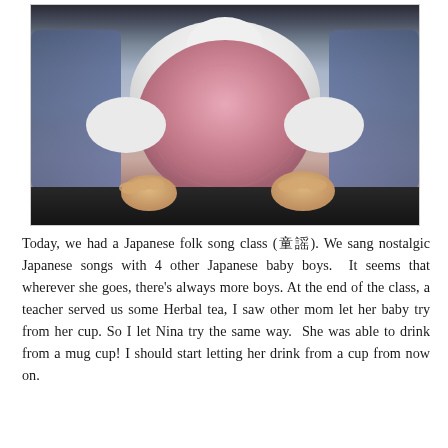[Figure (photo): A baby/toddler in a white long-sleeve shirt and pink fuzzy vest/pinafore, standing at a dark table with both hands on the edge. Blue chairs visible in the background.]
Today, we had a Japanese folk song class (童謡). We sang nostalgic Japanese songs with 4 other Japanese baby boys.  It seems that wherever she goes, there's always more boys. At the end of the class, a teacher served us some Herbal tea, I saw other mom let her baby try from her cup. So I let Nina try the same way.  She was able to drink from a mug cup! I should start letting her drink from a cup from now on.